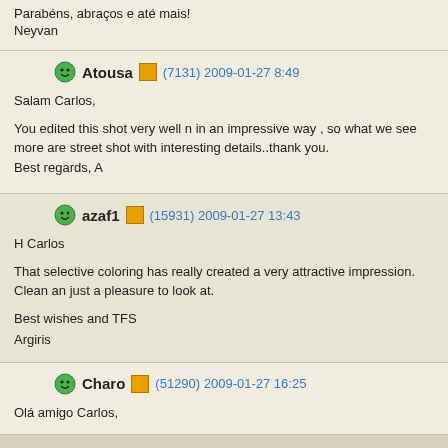Parabéns, abraços e até mais!
Neyvan
Atousa (7131) 2009-01-27 8:49
Salam Carlos,
You edited this shot very well n in an impressive way , so what we see more are street shot with interesting details..thank you.
Best regards, A
azaf1 (15931) 2009-01-27 13:43
H Carlos
That selective coloring has really created a very attractive impression. Clean an just a pleasure to look at.
Best wishes and TFS
Argiris
Charo (51290) 2009-01-27 16:25
Olá amigo Carlos,